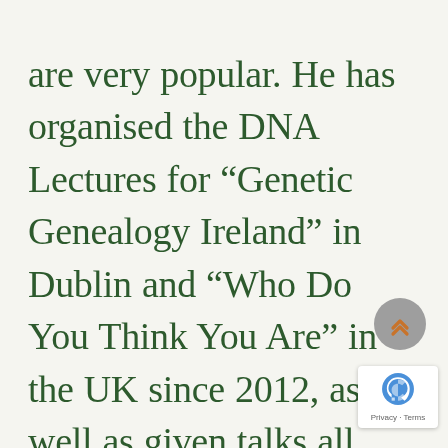are very popular. He has organised the DNA Lectures for “Genetic Genealogy Ireland” in Dublin and “Who Do You Think You Are” in the UK since 2012, as well as given talks all over Ireland, the UK, and internationally. He was voted “Genetic Genealogis